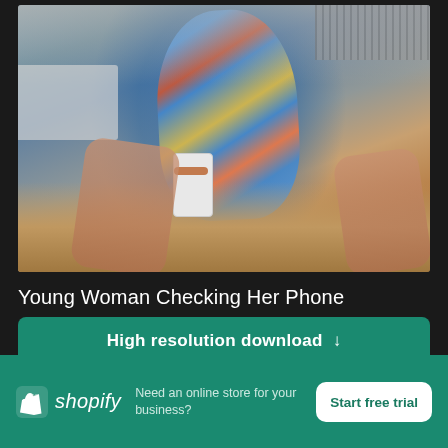[Figure (photo): Young woman sitting at a desk holding a smartphone, wearing a colorful blue floral scarf and white shirt, with a laptop to her left and a keyboard in the background.]
Young Woman Checking Her Phone
High resolution download ↓
[Figure (screenshot): Gray bar UI element with close (X) button on the right side in teal/green.]
[Figure (logo): Shopify logo with bag icon and italic wordmark in white on teal background.]
Need an online store for your business?
Start free trial